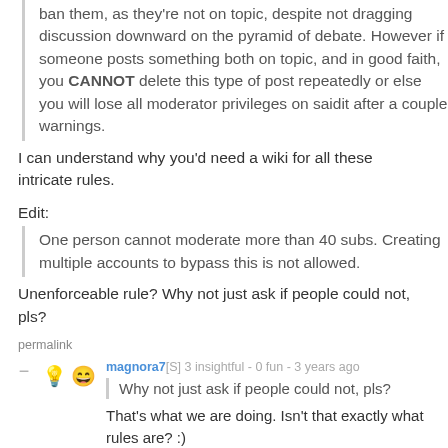ban them, as they're not on topic, despite not dragging discussion downward on the pyramid of debate. However if someone posts something both on topic, and in good faith, you CANNOT delete this type of post repeatedly or else you will lose all moderator privileges on saidit after a couple warnings.
I can understand why you'd need a wiki for all these intricate rules.
Edit:
One person cannot moderate more than 40 subs. Creating multiple accounts to bypass this is not allowed.
Unenforceable rule? Why not just ask if people could not, pls?
permalink
magnora7[S] 3 insightful - 0 fun - 3 years ago
Why not just ask if people could not, pls?
That's what we are doing. Isn't that exactly what rules are? :)